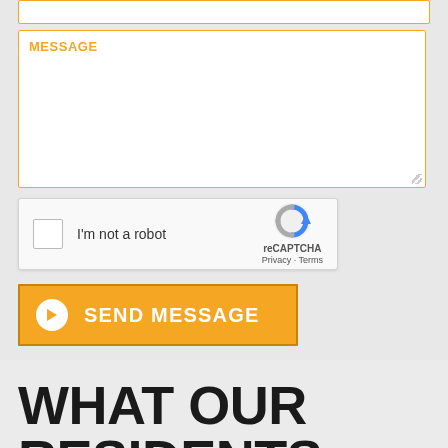MESSAGE
[Figure (screenshot): reCAPTCHA widget with checkbox labeled 'I'm not a robot', reCAPTCHA logo, Privacy and Terms links]
SEND MESSAGE
WHAT OUR RESIDENTS ARE SAYING